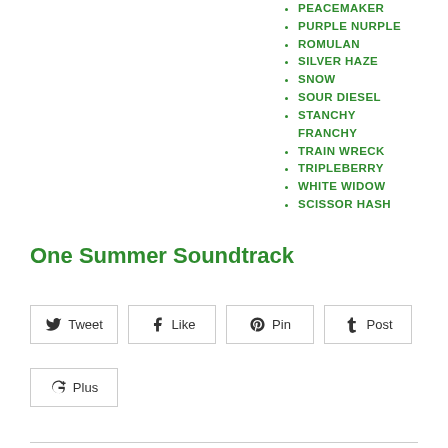PEACEMAKER
PURPLE NURPLE
ROMULAN
SILVER HAZE
SNOW
SOUR DIESEL
STANCHY FRANCHY
TRAIN WRECK
TRIPLEBERRY
WHITE WIDOW
SCISSOR HASH
One Summer Soundtrack
Tweet Like Pin Post Plus